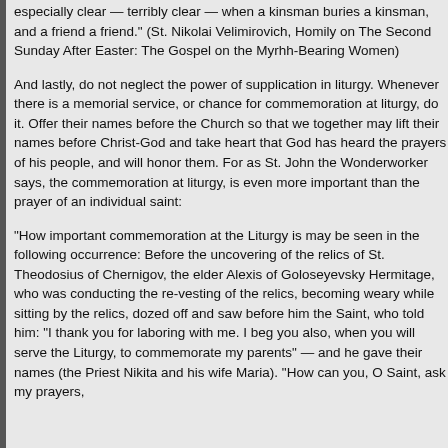especially clear — terribly clear — when a kinsman buries a kinsman, and a friend a friend." (St. Nikolai Velimirovich, Homily on The Second Sunday After Easter: The Gospel on the Myrhh-Bearing Women)
And lastly, do not neglect the power of supplication in liturgy. Whenever there is a memorial service, or chance for commemoration at liturgy, do it. Offer their names before the Church so that we together may lift their names before Christ-God and take heart that God has heard the prayers of his people, and will honor them. For as St. John the Wonderworker says, the commemoration at liturgy, is even more important than the prayer of an individual saint:
"How important commemoration at the Liturgy is may be seen in the following occurrence: Before the uncovering of the relics of St. Theodosius of Chernigov, the elder Alexis of Goloseyevsky Hermitage, who was conducting the re-vesting of the relics, becoming weary while sitting by the relics, dozed off and saw before him the Saint, who told him: “I thank you for laboring with me. I beg you also, when you will serve the Liturgy, to commemorate my parents” — and he gave their names (the Priest Nikita and his wife Maria). “How can you, O Saint, ask my prayers,